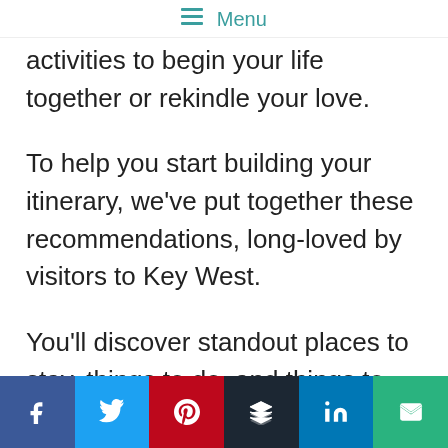☰ Menu
activities to begin your life together or rekindle your love.
To help you start building your itinerary, we've put together these recommendations, long-loved by visitors to Key West.
You'll discover standout places to stay, things to do, and things to eat in beautiful
[Figure (infographic): Social sharing bar with six buttons: Facebook (blue), Twitter (light blue), Pinterest (red), Buffer (dark navy), LinkedIn (blue), Email (green), each with respective icon in white.]